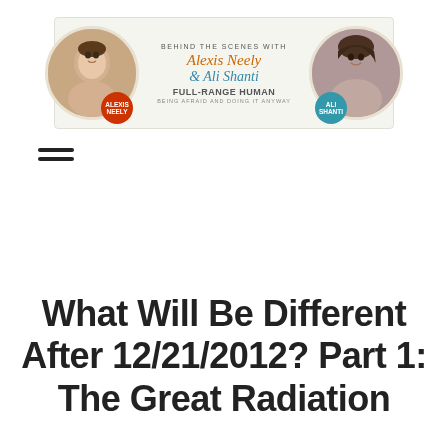[Figure (logo): Banner header with two circular portrait photos on left and right, circular name badges, and center text reading 'BEHIND THE SCENES WITH Alexis Neely & Ali Shanti FULL-RANGE HUMAN BEING AFRAID AND DOING IT ANYWAY']
[Figure (other): Hamburger menu icon with two horizontal bars]
What Will Be Different After 12/21/2012? Part 1: The Great Radiation